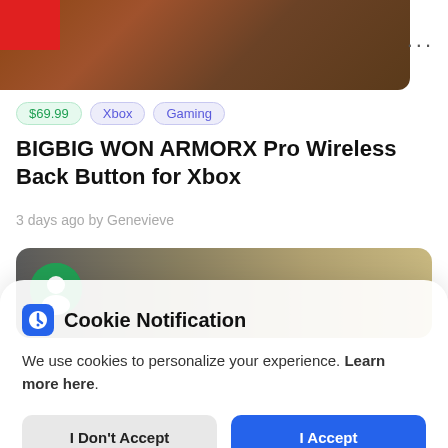[Figure (screenshot): Top portion of a product article page showing a wooden background image with a red object, three-dots menu icon, price and category tags ($69.99, Xbox, Gaming), article title 'BIGBIG WON ARMORX Pro Wireless Back Button for Xbox', byline '3 days ago by Genevieve', and a dark card with a green circular avatar icon below.]
BIGBIG WON ARMORX Pro Wireless Back Button for Xbox
3 days ago by Genevieve
Cookie Notification
We use cookies to personalize your experience. Learn more here.
I Don't Accept
I Accept